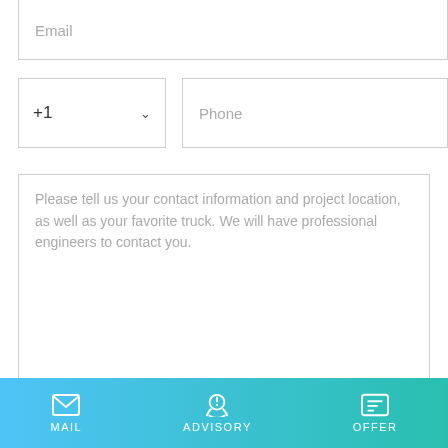[Figure (screenshot): Email input field with placeholder text 'Email']
[Figure (screenshot): Phone country code dropdown (+1) and phone number input field]
Please tell us your contact information and project location, as well as your favorite truck. We will have professional engineers to contact you.
[Figure (screenshot): Submit button with gradient background and bottom navigation bar with MAIL, ADVISORY, and OFFER icons]